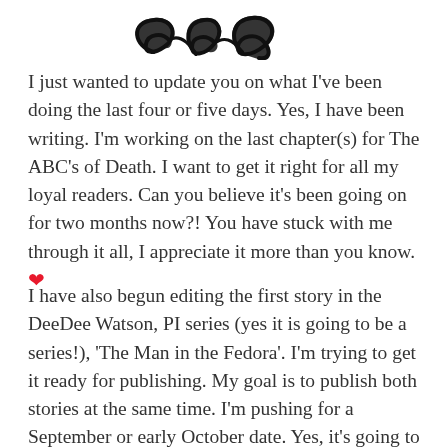[Figure (logo): Partial decorative logo or stylized text graphic at the top of the page, showing curled/flourished letterforms in black.]
I just wanted to update you on what I've been doing the last four or five days. Yes, I have been writing. I'm working on the last chapter(s) for The ABC's of Death. I want to get it right for all my loyal readers. Can you believe it's been going on for two months now?! You have stuck with me through it all, I appreciate it more than you know. ❤
I have also begun editing the first story in the DeeDee Watson, PI series (yes it is going to be a series!), 'The Man in the Fedora'. I'm trying to get it ready for publishing. My goal is to publish both stories at the same time. I'm pushing for a September or early October date. Yes, it's going to be a lot of hard work, but so worth it!